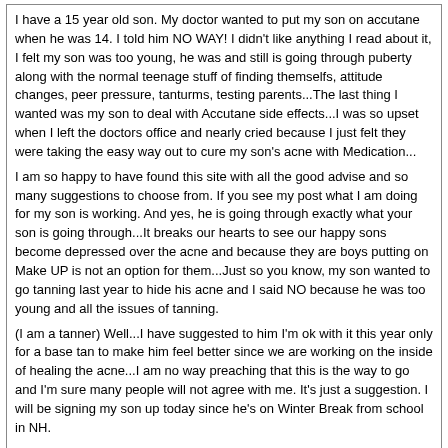I have a 15 year old son. My doctor wanted to put my son on accutane when he was 14. I told him NO WAY! I didn't like anything I read about it, I felt my son was too young, he was and still is going through puberty along with the normal teenage stuff of finding themselfs, attitude changes, peer pressure, tanturms, testing parents...The last thing I wanted was my son to deal with Accutane side effects...I was so upset when I left the doctors office and nearly cried because I just felt they were taking the easy way out to cure my son's acne with Medication...
I am so happy to have found this site with all the good advise and so many suggestions to choose from. If you see my post what I am doing for my son is working. And yes, he is going through exactly what your son is going through...It breaks our hearts to see our happy sons become depressed over the acne and because they are boys putting on Make UP is not an option for them...Just so you know, my son wanted to go tanning last year to hide his acne and I said NO because he was too young and all the issues of tanning.
(I am a tanner) Well...I have suggested to him I'm ok with it this year only for a base tan to make him feel better since we are working on the inside of healing the acne...I am no way preaching that this is the way to go and I'm sure many people will not agree with me. It's just a suggestion. I will be signing my son up today since he's on Winter Break from school in NH.

Good luck with your son's acne healing. :wave:
TheWildSide
02-23-2004 07:29 AM
Re: My 13 year old on accutane(LONG POST)